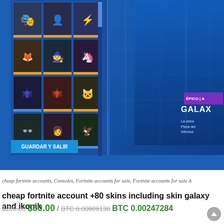[Figure (screenshot): Screenshot of a Fortnite account locker showing multiple character skins in a grid layout on the left side, and a highlighted Galaxy skin on the right side with 'ÉPICO | A', 'GALAX' title text, and description text. A 'GUARDAR Y SALIR' (Save and Exit) button is visible at the bottom left. The interface has a dark blue background typical of Fortnite's locker UI.]
cheap fortnite accounts, Consoles, Fortnite accounts for sale, Fortnite accounts for sale A
cheap fortnite account +80 skins including skin galaxy and ikonik
$200.00  $50.00  /  BTC 0.00989138  BTC 0.00247284